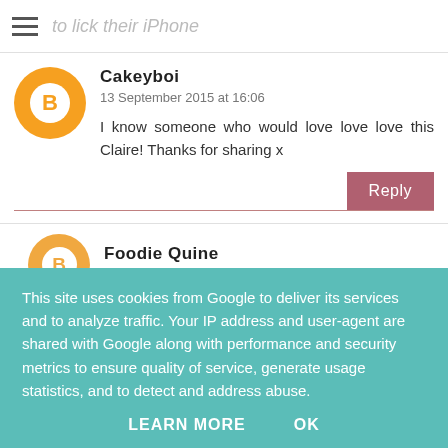to lick their iPhone
Cakeyboi
13 September 2015 at 16:06

I know someone who would love love love this Claire! Thanks for sharing x
Foodie Quine
This site uses cookies from Google to deliver its services and to analyze traffic. Your IP address and user-agent are shared with Google along with performance and security metrics to ensure quality of service, generate usage statistics, and to detect and address abuse.
LEARN MORE    OK